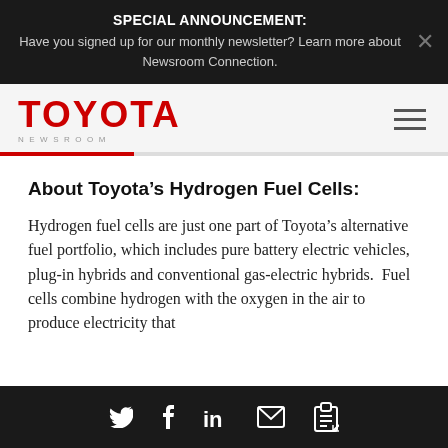SPECIAL ANNOUNCEMENT: Have you signed up for our monthly newsletter? Learn more about Newsroom Connection.
[Figure (logo): Toyota Newsroom logo — red bold TOYOTA text with NEWSROOM in small gray spaced letters below]
About Toyota’s Hydrogen Fuel Cells:
Hydrogen fuel cells are just one part of Toyota’s alternative fuel portfolio, which includes pure battery electric vehicles, plug-in hybrids and conventional gas-electric hybrids. Fuel cells combine hydrogen with the oxygen in the air to produce electricity that
Social share icons: Twitter, Facebook, LinkedIn, Email, Clipboard/Link